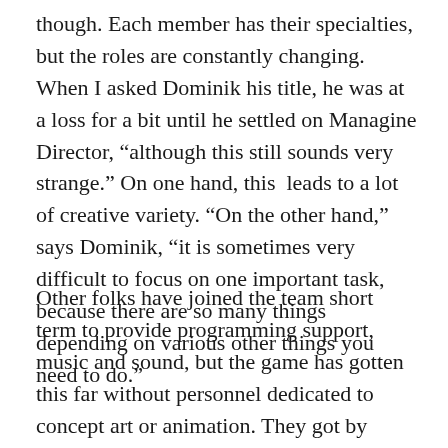though. Each member has their specialties, but the roles are constantly changing. When I asked Dominik his title, he was at a loss for a bit until he settled on Managine Director, “although this still sounds very strange.” On one hand, this leads to a lot of creative variety. “On the other hand,” says Dominik, “it is sometimes very difficult to focus on one important task, because there are so many things depending on various other things you need to do.”
Other folks have joined the team short term to provide programming support, music and sound, but the game has gotten this far without personnel dedicated to concept art or animation. They got by without the former by looking at a lot of art for inspiration. The latter took a lot of improvisation and on the job learning, using the